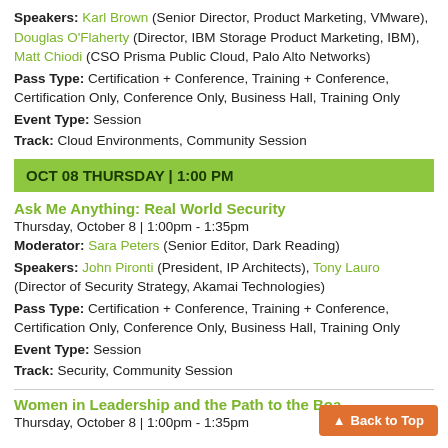Speakers: Karl Brown (Senior Director, Product Marketing, VMware), Douglas O'Flaherty (Director, IBM Storage Product Marketing, IBM), Matt Chiodi (CSO Prisma Public Cloud, Palo Alto Networks)
Pass Type: Certification + Conference, Training + Conference, Certification Only, Conference Only, Business Hall, Training Only
Event Type: Session
Track: Cloud Environments, Community Session
OCT 08 THURSDAY | 1:00 PM
Ask Me Anything: Real World Security
Thursday, October 8 | 1:00pm - 1:35pm
Moderator: Sara Peters (Senior Editor, Dark Reading)
Speakers: John Pironti (President, IP Architects), Tony Lauro (Director of Security Strategy, Akamai Technologies)
Pass Type: Certification + Conference, Training + Conference, Certification Only, Conference Only, Business Hall, Training Only
Event Type: Session
Track: Security, Community Session
Women in Leadership and the Path to the Boa...
Thursday, October 8 | 1:00pm - 1:35pm